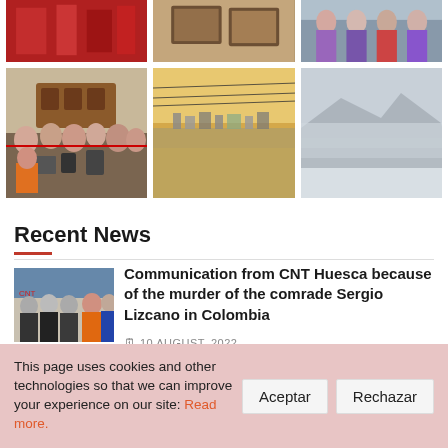[Figure (photo): Top row of three photos: red-themed image, framed picture on wall, group of people in colorful clothing]
[Figure (photo): Second row of three photos: crowded press conference room, desert/refugee camp landscape, mountain/misty landscape]
Recent News
[Figure (photo): News thumbnail showing police and protesters]
Communication from CNT Huesca because of the murder of the comrade Sergio Lizcano in Colombia
10 AUGUST, 2022
This page uses cookies and other technologies so that we can improve your experience on our site: Read more.